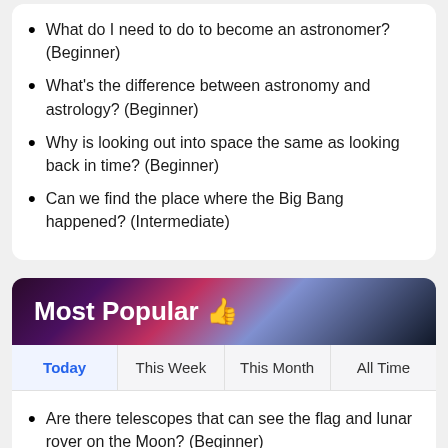What do I need to do to become an astronomer? (Beginner)
What's the difference between astronomy and astrology? (Beginner)
Why is looking out into space the same as looking back in time? (Beginner)
Can we find the place where the Big Bang happened? (Intermediate)
[Figure (other): Most Popular section header with galaxy/space background image and thumbs-up icon]
Today | This Week | This Month | All Time (tab navigation)
Are there telescopes that can see the flag and lunar rover on the Moon? (Beginner)
Why isn't the summer solstice the hottest day of the year? (Beginner)